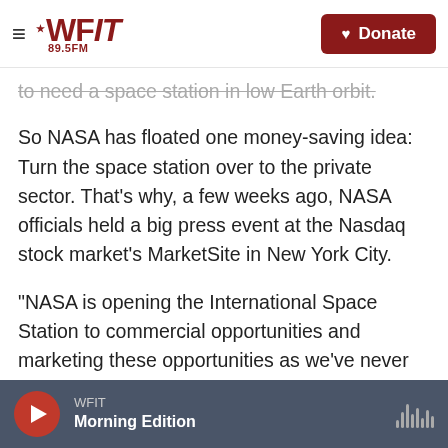WFIT 89.5FM — Donate
to need a space station in low Earth orbit.
So NASA has floated one money-saving idea: Turn the space station over to the private sector. That's why, a few weeks ago, NASA officials held a big press event at the Nasdaq stock market's MarketSite in New York City.
"NASA is opening the International Space Station to commercial opportunities and marketing these opportunities as we've never done before," said the agency's chief financial officer, Jeff DeWit. "The commercialization of low Earth orbit will enable NASA to focus resources to land the first woman
WFIT — Morning Edition